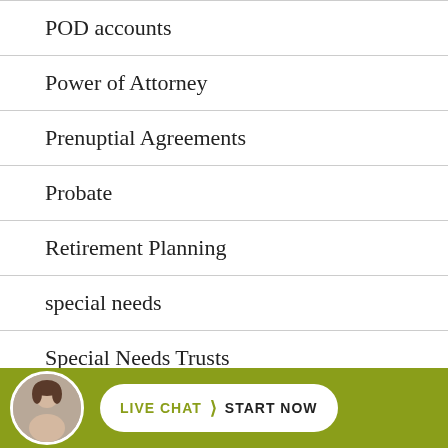POD accounts
Power of Attorney
Prenuptial Agreements
Probate
Retirement Planning
special needs
Special Needs Trusts
LIVE CHAT  START NOW